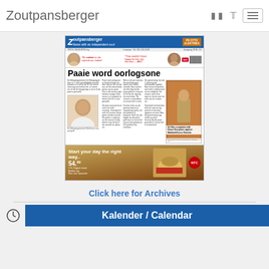Zoutpansberger
[Figure (screenshot): Zoutpansberger newspaper front page thumbnail showing headline 'Paaie word oorlogsone' with article text, photos, and KFC advertisement]
Click here for Archives
[Figure (illustration): Clock/calendar icon]
Kalender / Calendar